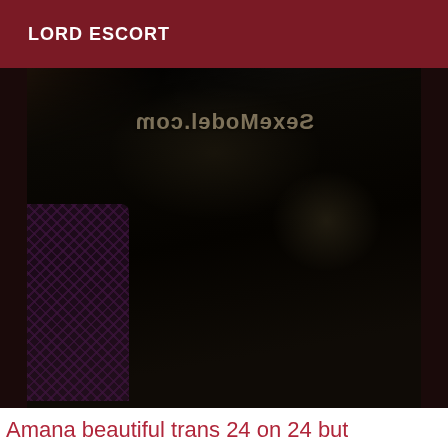LORD ESCORT
[Figure (photo): Photo of a person with long dark and blonde hair, wearing a fishnet/lace sleeve, viewed from behind/side. A watermark reading 'SexeModel.com' is visible (mirrored) at the top of the image.]
Amana beautiful trans 24 on 24 but